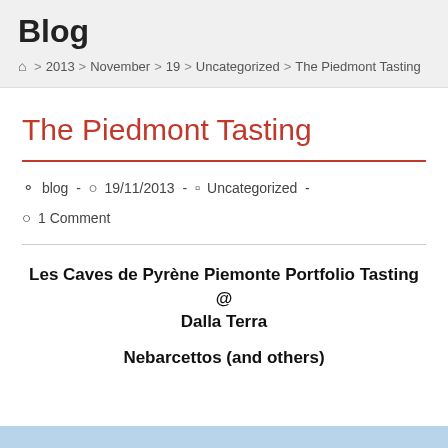Blog
⌂ > 2013 > November > 19 > Uncategorized > The Piedmont Tasting
The Piedmont Tasting
blog - 19/11/2013 - Uncategorized - 1 Comment
Les Caves de Pyrène Piemonte Portfolio Tasting @ Dalla Terra

Nebarcettos (and others)